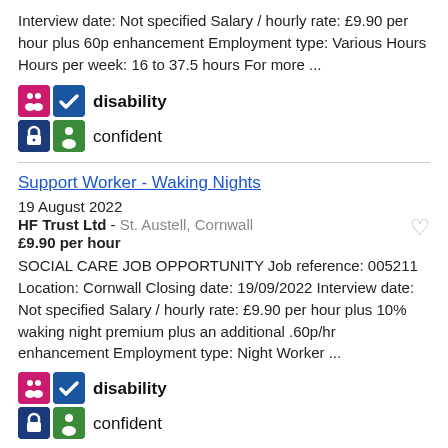Interview date: Not specified Salary / hourly rate: £9.90 per hour plus 60p enhancement Employment type: Various Hours Hours per week: 16 to 37.5 hours For more ...
[Figure (logo): Disability Confident logo with four coloured icons (pink, blue/teal, dark blue, green) and the text 'disability confident']
Support Worker - Waking Nights
19 August 2022
HF Trust Ltd - St. Austell, Cornwall
£9.90 per hour
SOCIAL CARE JOB OPPORTUNITY Job reference: 005211 Location: Cornwall Closing date: 19/09/2022 Interview date: Not specified Salary / hourly rate: £9.90 per hour plus 10% waking night premium plus an additional .60p/hr enhancement Employment type: Night Worker ...
[Figure (logo): Disability Confident logo with four coloured icons and the text 'disability confident']